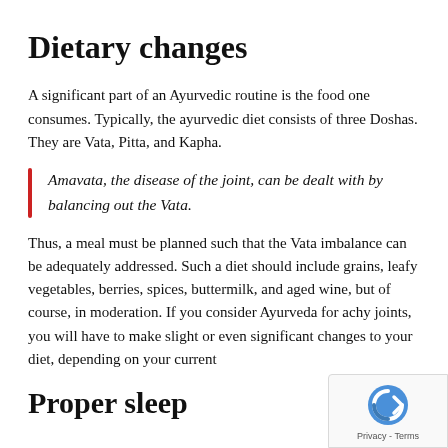Dietary changes
A significant part of an Ayurvedic routine is the food one consumes. Typically, the ayurvedic diet consists of three Doshas. They are Vata, Pitta, and Kapha.
Amavata, the disease of the joint, can be dealt with by balancing out the Vata.
Thus, a meal must be planned such that the Vata imbalance can be adequately addressed. Such a diet should include grains, leafy vegetables, berries, spices, buttermilk, and aged wine, but of course, in moderation. If you consider Ayurveda for achy joints, you will have to make slight or even significant changes to your diet, depending on your current
Proper sleep